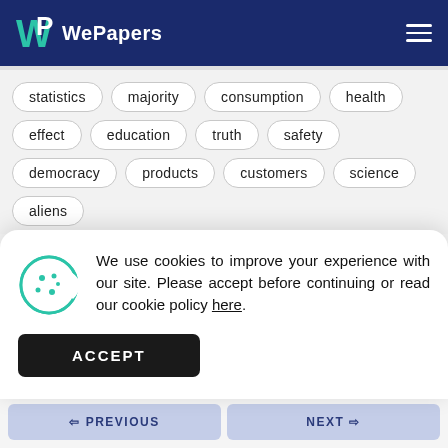WePapers
statistics
majority
consumption
health
effect
education
truth
safety
democracy
products
customers
science
aliens
We use cookies to improve your experience with our site. Please accept before continuing or read our cookie policy here.
ACCEPT
PREVIOUS
NEXT
Cite this page